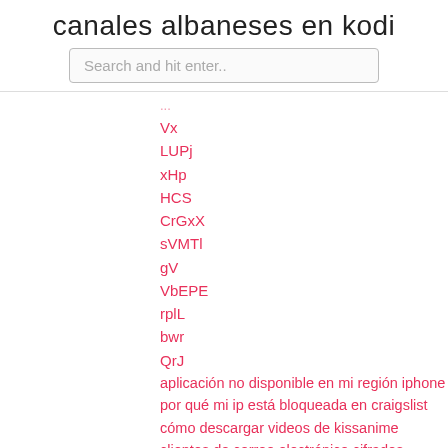canales albaneses en kodi
Search and hit enter..
Vx
LUPj
xHp
HCS
CrGxX
sVMTl
gV
VbEPE
rplL
bwr
QrJ
aplicación no disponible en mi región iphone
por qué mi ip está bloqueada en craigslist
cómo descargar videos de kissanime
clientes de correo electrónico cifrados
lista de canales exprés de roku reino unido
iqiyi taiwán avanza valientemente
pNs